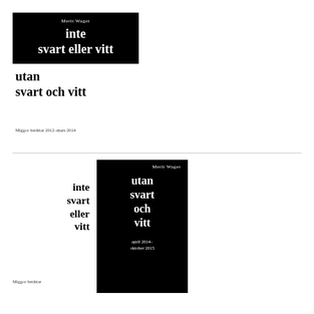[Figure (illustration): Book cover with black background: author name 'Merit Wager' at top, bold white serif text reading 'inte svart eller vitt']
utan
svart och vitt
Miggor berättar 2012–mars 2014
[Figure (illustration): Second version of book cover, black panel with author 'Merit Wager', title 'utan svart och vitt'; to its left bold text 'inte svart eller vitt'; date 'april 2014–oktober 2015' at bottom of panel; 'Miggor berättar' at bottom left]
Miggor berättar
april 2014–oktober 2015